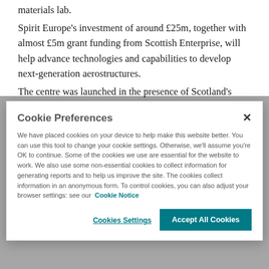materials lab. Spirit Europe's investment of around £25m, together with almost £5m grant funding from Scottish Enterprise, will help advance technologies and capabilities to develop next-generation aerostructures. The centre was launched in the presence of Scotland's
Cookie Preferences
We have placed cookies on your device to help make this website better. You can use this tool to change your cookie settings. Otherwise, we'll assume you're OK to continue. Some of the cookies we use are essential for the website to work. We also use some non-essential cookies to collect information for generating reports and to help us improve the site. The cookies collect information in an anonymous form. To control cookies, you can also adjust your browser settings: see our Cookie Notice
Cookies Settings | Accept All Cookies